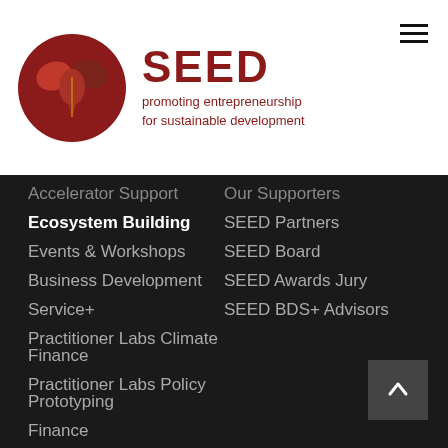[Figure (logo): SEED organization logo: circular dark red emblem with leaf/sprout design, next to bold dark red text 'SEED' and tagline 'promoting entrepreneurship for sustainable development']
Accelerator Support
Ecosystem Building
Events & Workshops
Business Development
Service+
Practitioner Labs Climate Finance
Practitioner Labs Policy Prototyping
Finance
Policy Advocacy
Our Supporters
SEED Partners
SEED Board
SEED Awards Jury
SEED BDS+ Advisors